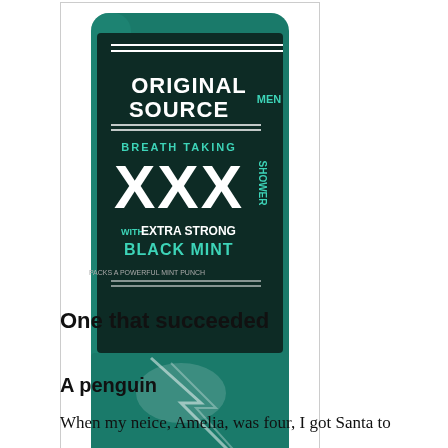[Figure (photo): Product photo of Original Source Men XXX Breath Taking Shower gel with Extra Strong Black Mint, shown in a teal/dark green bottle with black cap]
A genius product from Original Source
One that succeeded
A penguin
When my neice, Amelia, was four, I got Santa to